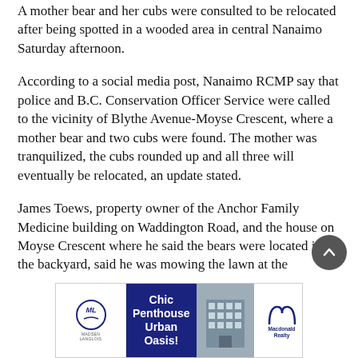A mother bear and her cubs were consulted to be relocated after being spotted in a wooded area in central Nanaimo Saturday afternoon.
According to a social media post, Nanaimo RCMP say that police and B.C. Conservation Officer Service were called to the vicinity of Blythe Avenue-Moyse Crescent, where a mother bear and two cubs were found. The mother was tranquilized, the cubs rounded up and all three will eventually be relocated, an update stated.
James Toews, property owner of the Anchor Family Medicine building on Waddington Road, and the house on Moyse Crescent where he said the bears were located in the backyard, said he was mowing the lawn at the
[Figure (other): Advertisement for Macdonald Realty featuring Chic Penthouse Urban Oasis with Madsen Langlois branding on the left and a building photo in the middle.]